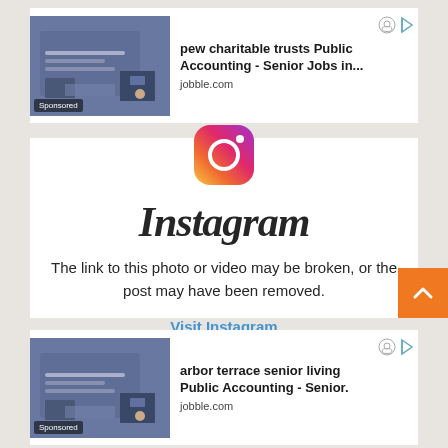[Figure (screenshot): Sponsored ad: pew charitable trusts Public Accounting - Senior Jobs in..., jobble.com, with laptop image]
[Figure (logo): Instagram logo icon (colorful camera icon)]
Instagram
The link to this photo or video may be broken, or the post may have been removed.
Visit Instagram
[Figure (screenshot): Sponsored ad: arbor terrace senior living Public Accounting - Senior., jobble.com, with laptop image]